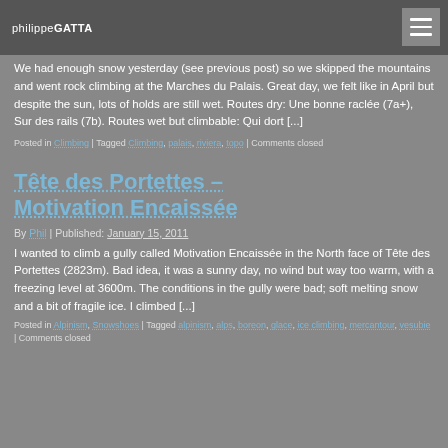philippeGATTA [menu button]
We had enough snow yesterday (see previous post) so we skipped the mountains and went rock climbing at the Marches du Palais. Great day, we felt like in April but despite the sun, lots of holds are still wet. Routes dry: Une bonne raclée (7a+), Sur des rails (7b). Routes wet but climbable: Qui dort [...]
Posted in Climbing | Tagged Climbing, palais, riviera, topo | Comments closed
Tête des Portettes – Motivation Encaissée
By Phil | Published: January 15, 2011
I wanted to climb a gully called Motivation Encaissée in the North face of Tête des Portettes (2823m). Bad idea, it was a sunny day, no wind but way too warm, with a freezing level at 3600m. The conditions in the gully were bad; soft melting snow and a bit of fragile ice. I climbed [...]
Posted in Alpinism, Snowshoes | Tagged alpinism, alps, boreon, glace, ice climbing, mercantour, vesubie | Comments closed